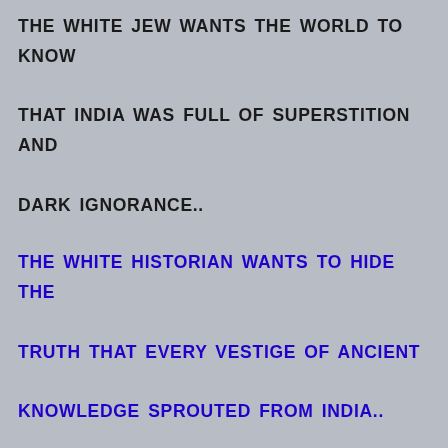THE WHITE JEW WANTS THE WORLD TO KNOW THAT INDIA WAS FULL OF SUPERSTITION AND DARK IGNORANCE..
THE WHITE HISTORIAN WANTS TO HIDE THE TRUTH THAT EVERY VESTIGE OF ANCIENT KNOWLEDGE SPROUTED FROM INDIA..
EVERY WESTERN INVENTION OR DISCOVERY IS STOLEN FROM THE DANAVA CIVILIZATION ( PUNT / SHEBA ) BASED IN CALICUT MY HOMETOWN . SOLOMON WAS A HINU KING WHOSE MOTHER